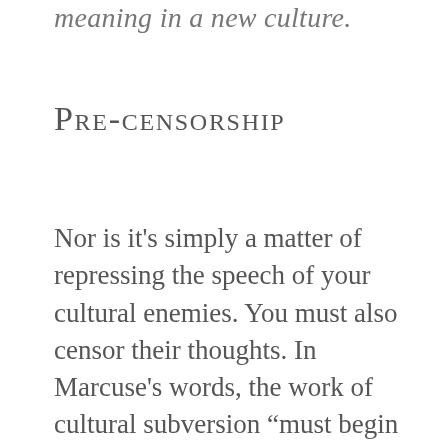meaning in a new culture.
Pre-censorship
Nor is it's simply a matter of repressing the speech of your cultural enemies. You must also censor their thoughts. In Marcuse's words, the work of cultural subversion “must begin with stopping the words and images which feed this